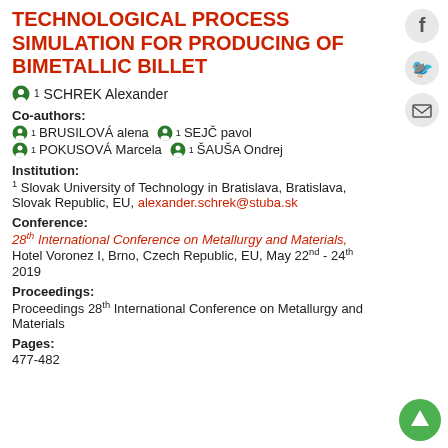TECHNOLOGICAL PROCESS SIMULATION FOR PRODUCING OF BIMETALLIC BILLET
1 SCHREK Alexander
Co-authors:
1 BRUSILOVÁ alena   1 SEJČ pavol
1 POKUSOVÁ Marcela   1 ŠAUŠA Ondrej
Institution:
1 Slovak University of Technology in Bratislava, Bratislava, Slovak Republic, EU, alexander.schrek@stuba.sk
Conference:
28th International Conference on Metallurgy and Materials, Hotel Voronez I, Brno, Czech Republic, EU, May 22nd - 24th 2019
Proceedings:
Proceedings 28th International Conference on Metallurgy and Materials
Pages:
477-482